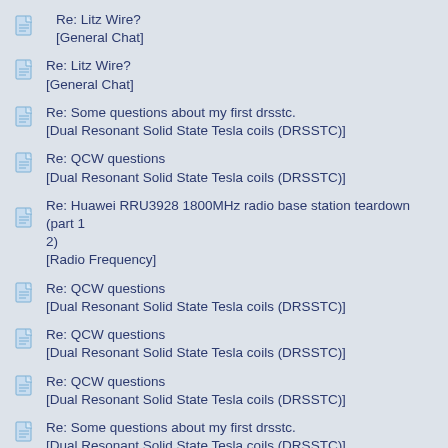Re: Litz Wire?
[General Chat]
Re: Litz Wire?
[General Chat]
Re: Some questions about my first drsstc.
[Dual Resonant Solid State Tesla coils (DRSSTC)]
Re: QCW questions
[Dual Resonant Solid State Tesla coils (DRSSTC)]
Re: Huawei RRU3928 1800MHz radio base station teardown (part 1 2)
[Radio Frequency]
Re: QCW questions
[Dual Resonant Solid State Tesla coils (DRSSTC)]
Re: QCW questions
[Dual Resonant Solid State Tesla coils (DRSSTC)]
Re: QCW questions
[Dual Resonant Solid State Tesla coils (DRSSTC)]
Re: Some questions about my first drsstc.
[Dual Resonant Solid State Tesla coils (DRSSTC)]
Re: Induction heating II: Shifting the Phase
[Electronic Circuits]
Re: Some questions about my first drsstc.
[Dual Resonant Solid State Tesla coils (DRSSTC)]
Re: Some questions about my first drsstc.
[Dual Resonant Solid State Tesla coils (DRSSTC)]